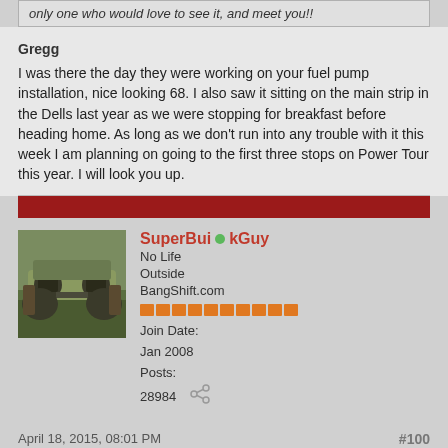only one who would love to see it, and meet you!!
Gregg
I was there the day they were working on your fuel pump installation, nice looking 68. I also saw it sitting on the main strip in the Dells last year as we were stopping for breakfast before heading home. As long as we don't run into any trouble with it this week I am planning on going to the first three stops on Power Tour this year. I will look you up.
SuperBuickGuy
No Life Outside BangShift.com
Join Date: Jan 2008
Posts: 28984
April 18, 2015, 08:01 PM
#100
so does your Olds have a girdle now?